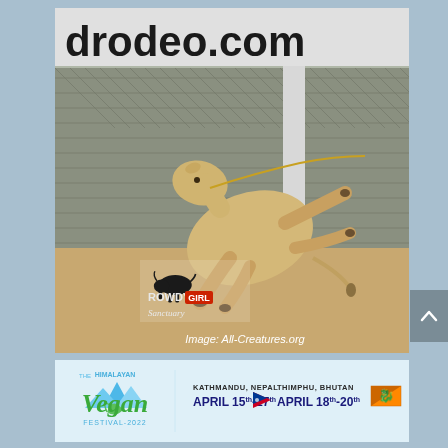[Figure (photo): A thin calf at a rodeo, leaping or struggling in a dirt arena. A chain-link fence is visible in the background with a sign reading 'drodeo.com'. A Rowdy Girl Sanctuary logo is overlaid at lower left. Text reads 'Image: All-Creatures.org' at lower right.]
[Figure (logo): The Himalayan Vegan Festival 2022 banner ad. Shows festival logo with mountain and leaf design, text 'KATHMANDU, NEPAL APRIL 15th-17th' with Nepali flag, and 'THIMPHU, BHUTAN APRIL 18th-20th' with Bhutan flag.]